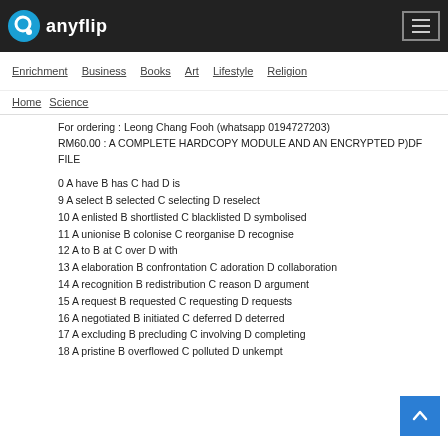anyflip
Enrichment  Business  Books  Art  Lifestyle  Religion
Home  Science
For ordering : Leong Chang Fooh (whatsapp 0194727203)
RM60.00 : A COMPLETE HARDCOPY MODULE AND AN ENCRYPTED P)DF FILE
0 A have B has C had D is
9 A select B selected C selecting D reselect
10 A enlisted B shortlisted C blacklisted D symbolised
11 A unionise B colonise C reorganise D recognise
12 A to B at C over D with
13 A elaboration B confrontation C adoration D collaboration
14 A recognition B redistribution C reason D argument
15 A request B requested C requesting D requests
16 A negotiated B initiated C deferred D deterred
17 A excluding B precluding C involving D completing
18 A pristine B overflowed C polluted D unkempt